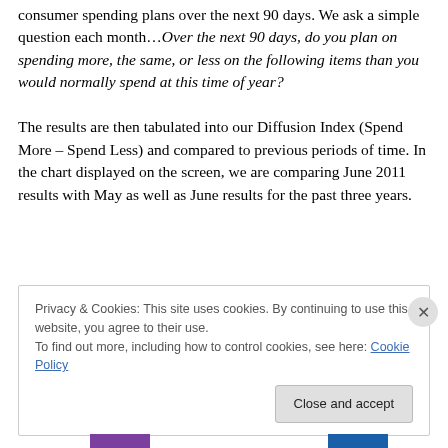consumer spending plans over the next 90 days. We ask a simple question each month…Over the next 90 days, do you plan on spending more, the same, or less on the following items than you would normally spend at this time of year?
The results are then tabulated into our Diffusion Index (Spend More – Spend Less) and compared to previous periods of time. In the chart displayed on the screen, we are comparing June 2011 results with May as well as June results for the past three years.
Privacy & Cookies: This site uses cookies. By continuing to use this website, you agree to their use. To find out more, including how to control cookies, see here: Cookie Policy